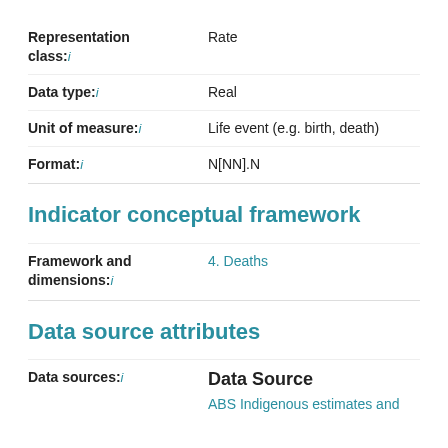Representation class: i   Rate
Data type: i   Real
Unit of measure: i   Life event (e.g. birth, death)
Format: i   N[NN].N
Indicator conceptual framework
Framework and dimensions: i   4. Deaths
Data source attributes
Data sources: i   Data Source   ABS Indigenous estimates and